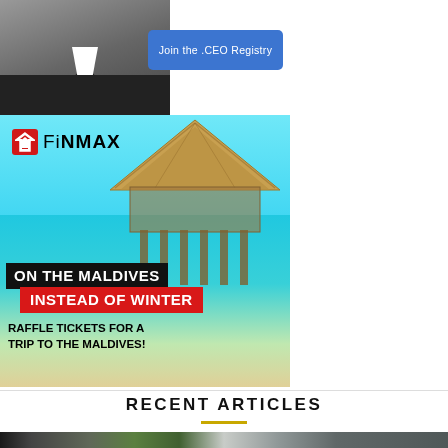[Figure (advertisement): Join the .CEO Registry advertisement with a man in suit and a blue button]
[Figure (advertisement): FiNMAX advertisement showing Maldives overwater bungalow with text: ON THE MALDIVES INSTEAD OF WINTER, RAFFLE TICKETS FOR A TRIP TO THE MALDIVES!]
RECENT ARTICLES
[Figure (photo): Bottom strip showing a desk with pen, succulent plant, and laptop keyboard]